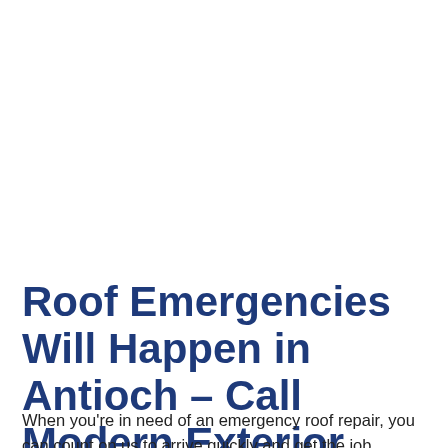Roof Emergencies Will Happen in Antioch – Call Modern Exterior Roofing!
When you're in need of an emergency roof repair, you can count on us to arrive quickly and get the job